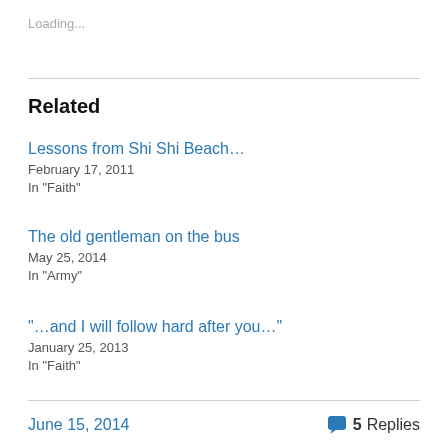Loading...
Related
Lessons from Shi Shi Beach…
February 17, 2011
In "Faith"
The old gentleman on the bus
May 25, 2014
In "Army"
"…and I will follow hard after you…"
January 25, 2013
In "Faith"
June 15, 2014    5 Replies